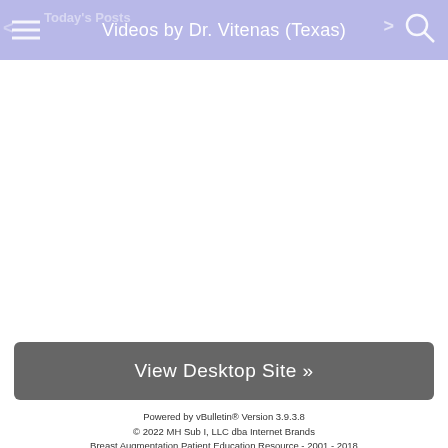Videos by Dr. Vitenas (Texas)
View Desktop Site »
Powered by vBulletin® Version 3.9.3.8
© 2022 MH Sub I, LLC dba Internet Brands
Breast Augmentation Patient Education Resource - 2001 - 2018
Privacy Statement | Cookie Policy | Advertising